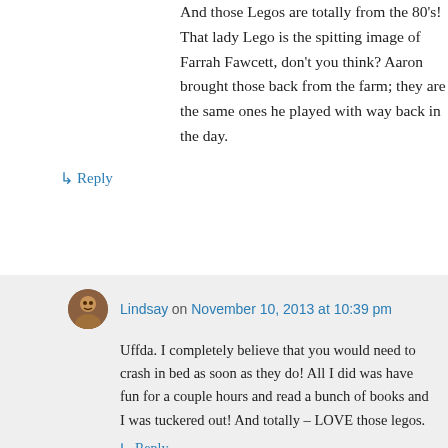And those Legos are totally from the 80's! That lady Lego is the spitting image of Farrah Fawcett, don't you think? Aaron brought those back from the farm; they are the same ones he played with way back in the day.
↳ Reply
Lindsay on November 10, 2013 at 10:39 pm
Uffda. I completely believe that you would need to crash in bed as soon as they do! All I did was have fun for a couple hours and read a bunch of books and I was tuckered out! And totally – LOVE those legos.
↳ Reply